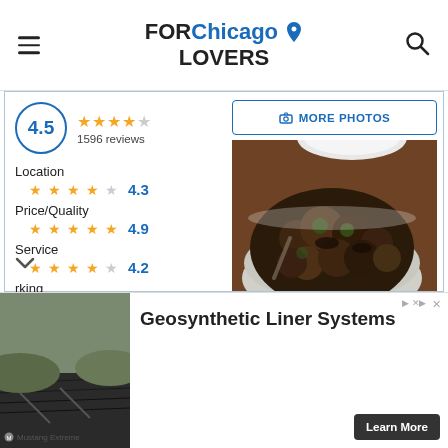FOR Chicago LOVERS
4.5 — 1596 reviews
Location 4.3
Price/Quality 4.9
Service 4.2
rking
[Figure (photo): Food photo showing roasted Brussels sprouts in a white bowl on a wooden table]
MORE PHOTOS
[Figure (photo): Advertisement image showing geosynthetic liner systems — landscape with black liner]
Geosynthetic Liner Systems
Mustang Extreme
Learn More